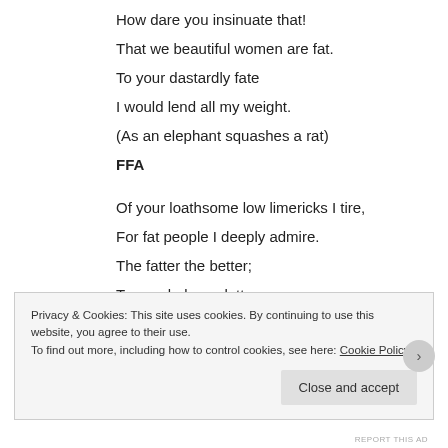How dare you insinuate that!
That we beautiful women are fat.
To your dastardly fate
I would lend all my weight.
(As an elephant squashes a rat)
FFA
Of your loathsome low limericks I tire,
For fat people I deeply admire.
The fatter the better;
To conclude my letter –
Go sink in a stinking quagmire!
Privacy & Cookies: This site uses cookies. By continuing to use this website, you agree to their use.
To find out more, including how to control cookies, see here: Cookie Policy
Close and accept